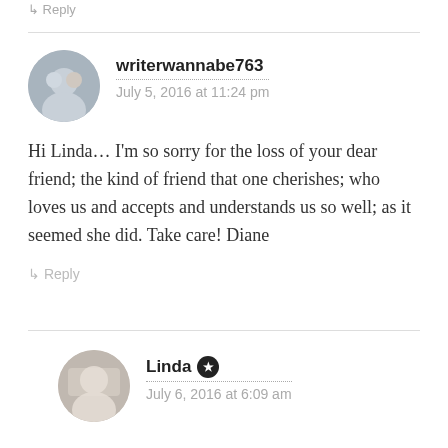↳ Reply
writerwannabe763
July 5, 2016 at 11:24 pm
Hi Linda… I'm so sorry for the loss of your dear friend; the kind of friend that one cherishes; who loves us and accepts and understands us so well; as it seemed she did. Take care! Diane
↳ Reply
Linda ★
July 6, 2016 at 6:09 am